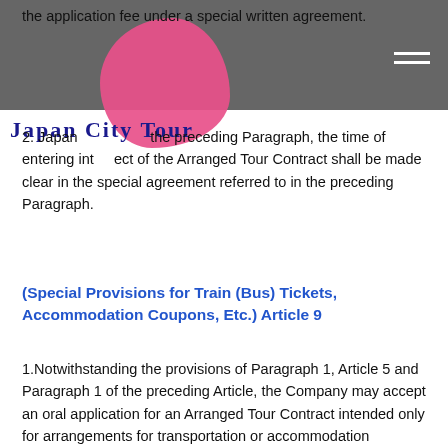the application fee under a special written agreement.
Japan City Tour
2. Japan City Tour In the preceding Paragraph, the time of entering into effect of the Arranged Tour Contract shall be made clear in the special agreement referred to in the preceding Paragraph.
(Special Provisions for Train (Bus) Tickets, Accommodation Coupons, Etc.) Article 9
1.Notwithstanding the provisions of Paragraph 1, Article 5 and Paragraph 1 of the preceding Article, the Company may accept an oral application for an Arranged Tour Contract intended only for arrangements for transportation or accommodation services under which a document is issued indicating the right to receive such Travel Services in return for the Travel Fee.
2. In the case referred to in the preceding Paragraph, an Arranged Tour Contract is deemed to enter into effect when the Company has agreed to conclude such contract.